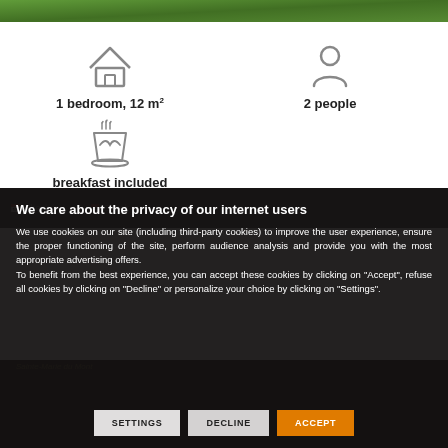[Figure (photo): Top green landscape/garden image strip]
1 bedroom, 12 m²
2 people
breakfast included
We care about the privacy of our internet users
We use cookies on our site (including third-party cookies) to improve the user experience, ensure the proper functioning of the site, perform audience analysis and provide you with the most appropriate advertising offers.
To benefit from the best experience, you can accept these cookies by clicking on "Accept", refuse all cookies by clicking on "Decline" or personalize your choice by clicking on "Settings".
SETTINGS
DECLINE
ACCEPT